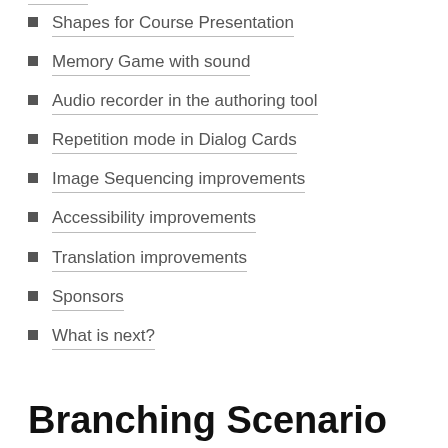Shapes for Course Presentation
Memory Game with sound
Audio recorder in the authoring tool
Repetition mode in Dialog Cards
Image Sequencing improvements
Accessibility improvements
Translation improvements
Sponsors
What is next?
Branching Scenario